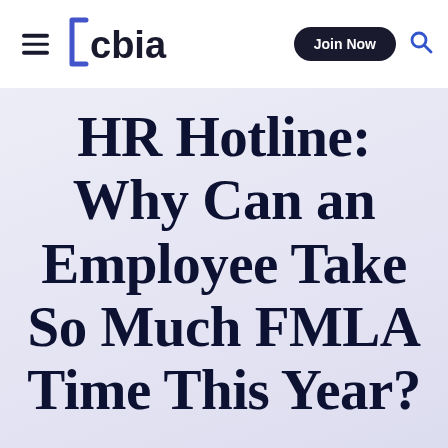cbia — Join Now
HR Hotline: Why Can an Employee Take So Much FMLA Time This Year?